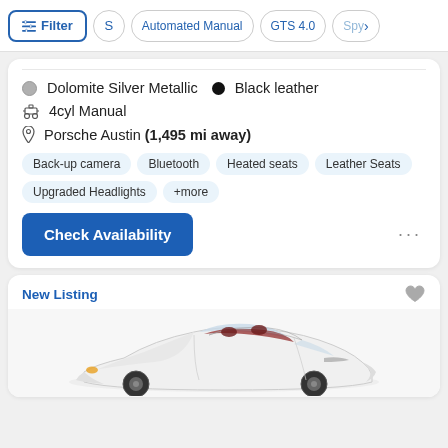Filter | S | Automated Manual | GTS 4.0 | Spy
Dolomite Silver Metallic  •  Black leather
4cyl Manual
Porsche Austin (1,495 mi away)
Back-up camera
Bluetooth
Heated seats
Leather Seats
Upgraded Headlights
+more
Check Availability
New Listing
[Figure (photo): White Porsche Boxster/718 convertible sports car with red interior, viewed from front-left angle]